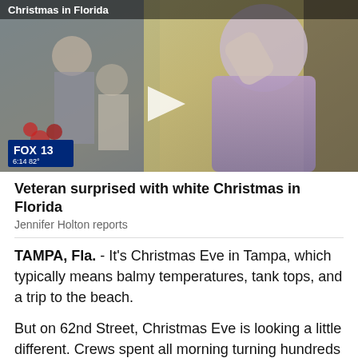[Figure (screenshot): Fox 13 news video screenshot showing an elderly man wiping his face/tears, with other people in the background near a yellow wall. A play button triangle is overlaid. The Fox 13 logo bug shows '6:14 82°' in the lower left. A headline bar at top reads 'Christmas in Florida'.]
Veteran surprised with white Christmas in Florida
Jennifer Holton reports
TAMPA, Fla. - It's Christmas Eve in Tampa, which typically means balmy temperatures, tank tops, and a trip to the beach.
But on 62nd Street, Christmas Eve is looking a little different. Crews spent all morning turning hundreds of bags of ice into eight tons of snow, and it was all to